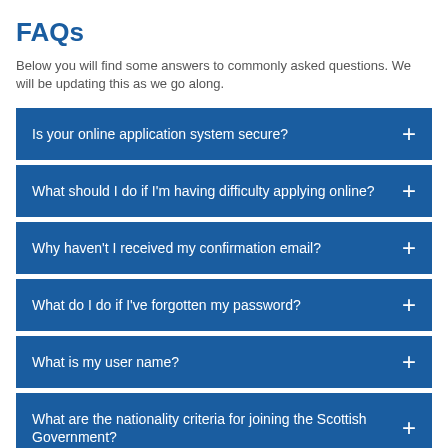FAQs
Below you will find some answers to commonly asked questions. We will be updating this as we go along.
Is your online application system secure?
What should I do if I'm having difficulty applying online?
Why haven't I received my confirmation email?
What do I do if I've forgotten my password?
What is my user name?
What are the nationality criteria for joining the Scottish Government?
Can I work flexible hours or apply to work part-time?